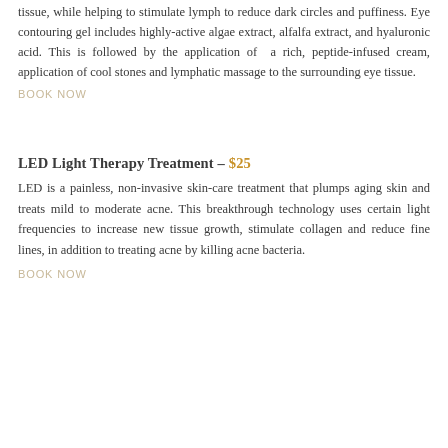tissue, while helping to stimulate lymph to reduce dark circles and puffiness. Eye contouring gel includes highly-active algae extract, alfalfa extract, and hyaluronic acid. This is followed by the application of a rich, peptide-infused cream, application of cool stones and lymphatic massage to the surrounding eye tissue.
BOOK NOW
LED Light Therapy Treatment – $25
LED is a painless, non-invasive skin-care treatment that plumps aging skin and treats mild to moderate acne. This breakthrough technology uses certain light frequencies to increase new tissue growth, stimulate collagen and reduce fine lines, in addition to treating acne by killing acne bacteria.
BOOK NOW